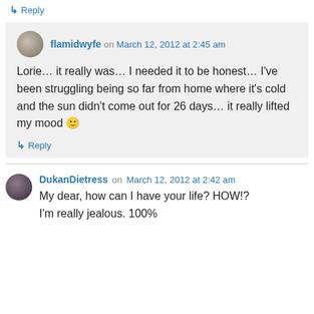↳ Reply
flamidwyfe on March 12, 2012 at 2:45 am
Lorie… it really was… I needed it to be honest… I've been struggling being so far from home where it's cold and the sun didn't come out for 26 days… it really lifted my mood 🙂
↳ Reply
DukanDietress on March 12, 2012 at 2:42 am
My dear, how can I have your life? HOW!? I'm really jealous. 100%